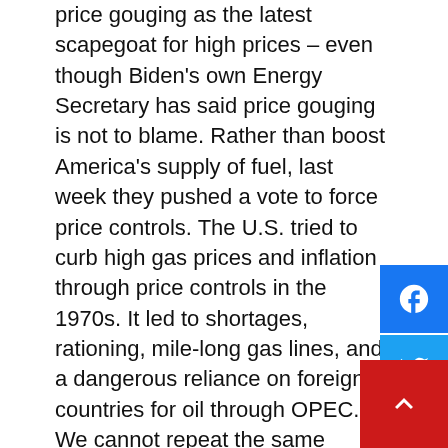price gouging as the latest scapegoat for high prices – even though Biden's own Energy Secretary has said price gouging is not to blame. Rather than boost America's supply of fuel, last week they pushed a vote to force price controls. The U.S. tried to curb high gas prices and inflation through price controls in the 1970s. It led to shortages, rationing, mile-long gas lines, and a dangerous reliance on foreign countries for oil through OPEC. We cannot repeat the same mistakes.
[Figure (infographic): Social media sharing buttons: Facebook (blue), Twitter (blue), Instagram (blue)]
These actions are not the solution to this crisis. Instead, we need to unleash American energy, in every form, to its fullest extent. This starts by passing legislation like my American Energy Independence from Russia Act which Democrats blocked last week for a sixth time. However,
[Figure (other): Red scroll-to-top button with upward chevron arrow]